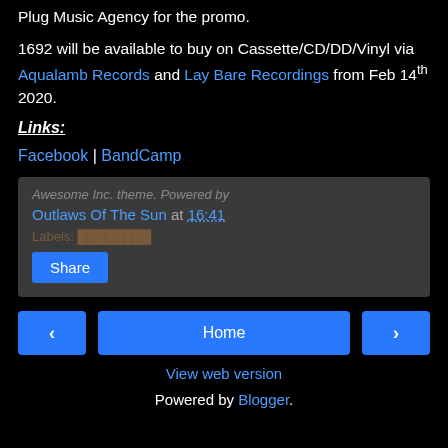Plug Music Agency for the promo.
1692 will be available to buy on Cassette/CD/DD/Vinyl via Aqualamb Records and Lay Bare Recordings from Feb 14th 2020.
Links:
Facebook | BandCamp
[Figure (screenshot): Blogger widget box showing post by Outlaws Of The Sun at 16:41 with a Share button]
< Home > View web version Powered by Blogger.